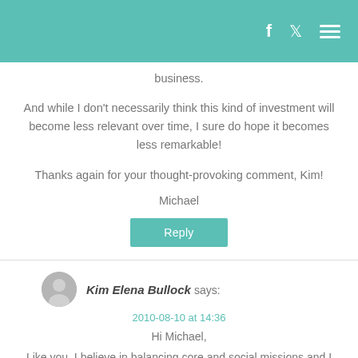Navigation header with Facebook, Twitter, and menu icons
business.
And while I don't necessarily think this kind of investment will become less relevant over time, I sure do hope it becomes less remarkable!
Thanks again for your thought-provoking comment, Kim!
Michael
Reply
Kim Elena Bullock says:
2010-08-10 at 14:36
Hi Michael,
Like you, I believe in balancing core and social missions and I see many coffee-buying companies I love and admire